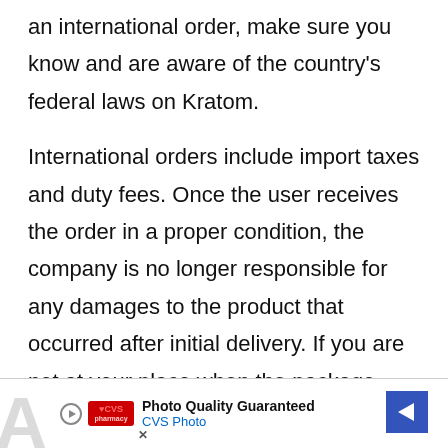an international order, make sure you know and are aware of the country's federal laws on Kratom.
International orders include import taxes and duty fees. Once the user receives the order in a proper condition, the company is no longer responsible for any damages to the product that occurred after initial delivery. If you are not at your place when the package gets delivered, you can visit the site and make a new appointment with your tracking code.
[Figure (other): CVS Pharmacy advertisement banner: Photo Quality Guaranteed, CVS Photo, with play button, CVS logo, and navigation arrow]